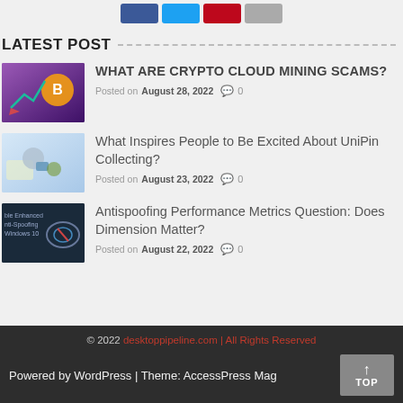[Figure (other): Social share buttons: Facebook (blue), Twitter (light blue), Pinterest (red), more (gray)]
LATEST POST
[Figure (photo): Crypto cloud mining thumbnail image with purple gradient and Bitcoin symbol]
WHAT ARE CRYPTO CLOUD MINING SCAMS?
Posted on August 28, 2022  💬 0
[Figure (photo): UniPin collecting thumbnail image, person with phone, light blue tones]
What Inspires People to Be Excited About UniPin Collecting?
Posted on August 23, 2022  💬 0
[Figure (photo): Antispoofing thumbnail: dark background with text about Enhanced Anti-Spoofing Windows 10]
Antispoofing Performance Metrics Question: Does Dimension Matter?
Posted on August 22, 2022  💬 0
© 2022 desktoppipeline.com | All Rights Reserved
Powered by WordPress | Theme: AccessPress Mag